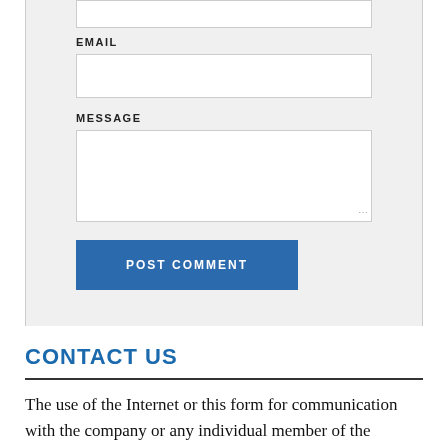EMAIL
MESSAGE
POST COMMENT
CONTACT US
The use of the Internet or this form for communication with the company or any individual member of the company does not establish an intermediary relationship. Confidential or time-sensitive information